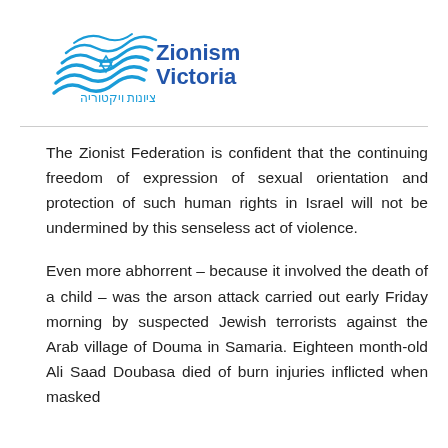[Figure (logo): Zionism Victoria logo with wave and star design in blue, text 'Zionism Victoria' in blue and Hebrew text below]
The Zionist Federation is confident that the continuing freedom of expression of sexual orientation and protection of such human rights in Israel will not be undermined by this senseless act of violence.
Even more abhorrent – because it involved the death of a child – was the arson attack carried out early Friday morning by suspected Jewish terrorists against the Arab village of Douma in Samaria. Eighteen month-old Ali Saad Doubasa died of burn injuries inflicted when masked